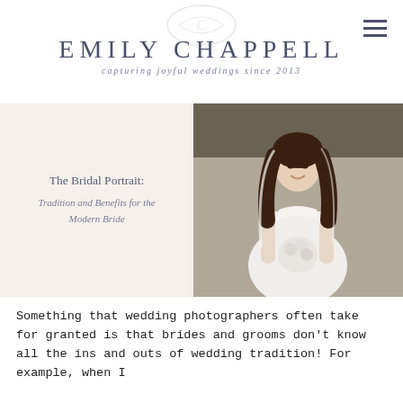[Figure (logo): Emily Chappell Photography logo with decorative monogram, title text 'EMILY CHAPPELL' and subtitle 'capturing joyful weddings since 2013']
[Figure (photo): Wedding blog feature image: left panel with cream background showing article title 'The Bridal Portrait: Tradition and Benefits for the Modern Bride'; right panel showing a smiling bride in a white strapless gown holding a jeweled bouquet, with a white veil, standing outdoors.]
Something that wedding photographers often take for granted is that brides and grooms don't know all the ins and outs of wedding tradition! For example, when I